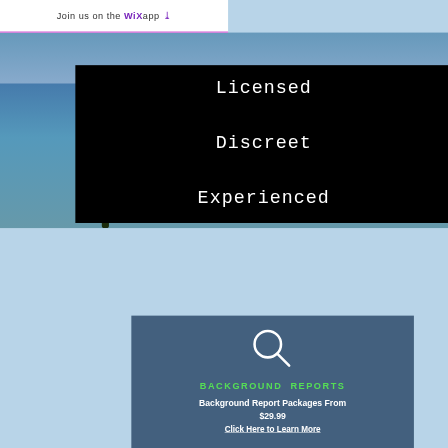Join us on the WiX app ↓
Licensed

Discreet

Experienced
[Figure (illustration): White magnifying glass icon on dark teal/blue background]
BACKGROUND REPORTS
Background Report Packages From $29.99
Click Here to Learn More